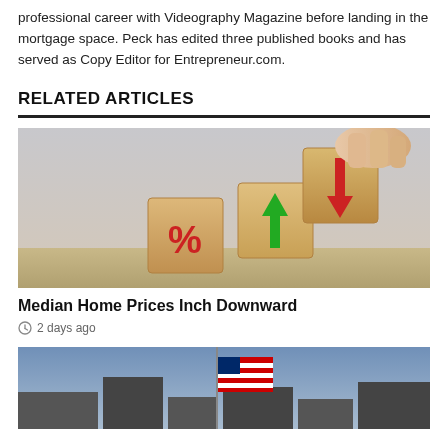professional career with Videography Magazine before landing in the mortgage space. Peck has edited three published books and has served as Copy Editor for Entrepreneur.com.
RELATED ARTICLES
[Figure (photo): Wooden blocks showing a percent sign and arrows (up green and down red), with a hand placing a block — symbolizing mortgage rate changes]
Median Home Prices Inch Downward
2 days ago
[Figure (photo): American flags in front of buildings, partially visible at bottom of page]